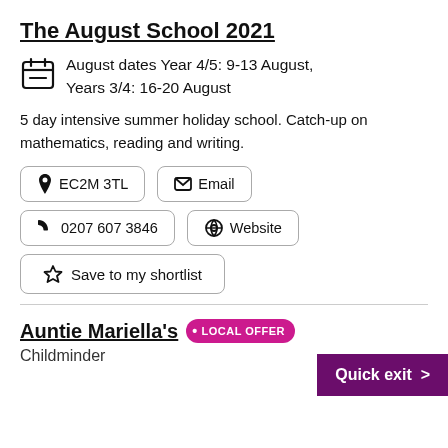The August School 2021
August dates Year 4/5: 9-13 August, Years 3/4: 16-20 August
5 day intensive summer holiday school. Catch-up on mathematics, reading and writing.
EC2M 3TL
Email
0207 607 3846
Website
Save to my shortlist
Auntie Mariella's
LOCAL OFFER
Childminder
Quick exit >